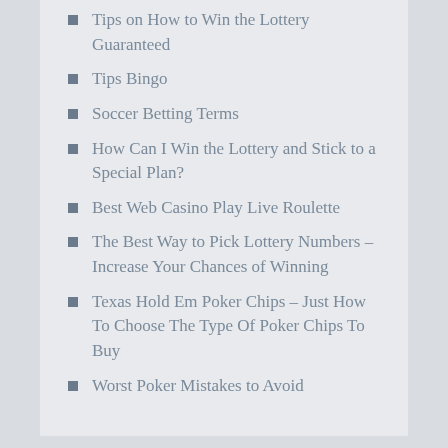Tips on How to Win the Lottery Guaranteed
Tips Bingo
Soccer Betting Terms
How Can I Win the Lottery and Stick to a Special Plan?
Best Web Casino Play Live Roulette
The Best Way to Pick Lottery Numbers – Increase Your Chances of Winning
Texas Hold Em Poker Chips – Just How To Choose The Type Of Poker Chips To Buy
Worst Poker Mistakes to Avoid
Categories